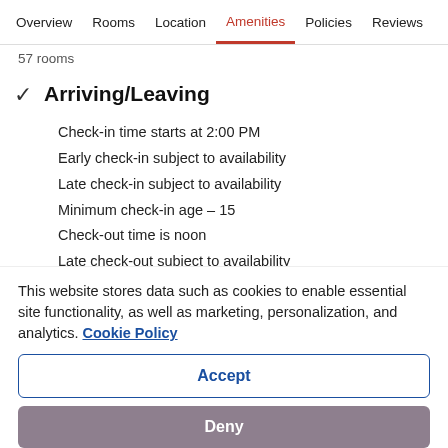Overview  Rooms  Location  Amenities  Policies  Reviews
57 rooms
✓ Arriving/Leaving
Check-in time starts at 2:00 PM
Early check-in subject to availability
Late check-in subject to availability
Minimum check-in age – 15
Check-out time is noon
Late check-out subject to availability
This website stores data such as cookies to enable essential site functionality, as well as marketing, personalization, and analytics. Cookie Policy
Accept
Deny